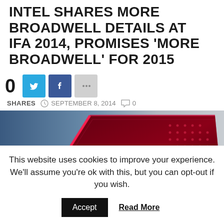INTEL SHARES MORE BROADWELL DETAILS AT IFA 2014, PROMISES 'MORE BROADWELL' FOR 2015
0 SHARES   SEPTEMBER 8, 2014   0
[Figure (photo): Close-up photo of an Intel Broadwell chip/processor with red illuminated circuit pattern on dark background with blue gradient]
This website uses cookies to improve your experience. We'll assume you're ok with this, but you can opt-out if you wish.
Accept   Read More